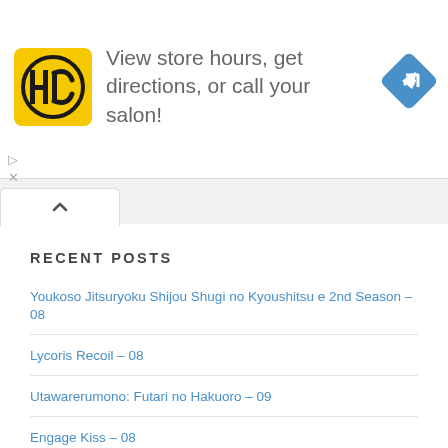[Figure (other): Ad banner: HC salon logo (yellow square with HC monogram), text 'View store hours, get directions, or call your salon!', blue diamond navigation icon]
View store hours, get directions, or call your salon!
RECENT POSTS
Youkoso Jitsuryoku Shijou Shugi no Kyoushitsu e 2nd Season – 08
Lycoris Recoil – 08
Utawarerumono: Futari no Hakuoro – 09
Engage Kiss – 08
Summertime Render – 19